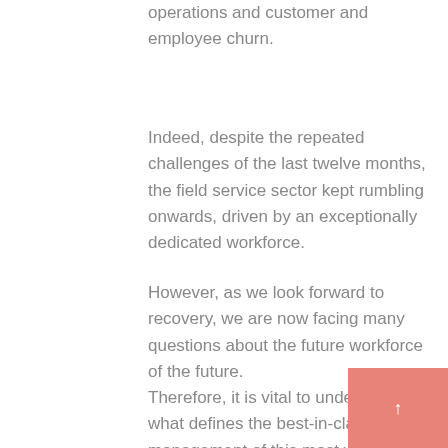operations and customer and employee churn.
Indeed, despite the repeated challenges of the last twelve months, the field service sector kept rumbling onwards, driven by an exceptionally dedicated workforce.
However, as we look forward to recovery, we are now facing many questions about the future workforce of the future.
Therefore, it is vital to understand what defines the best-in-class management of this most valuable asset, our staff.